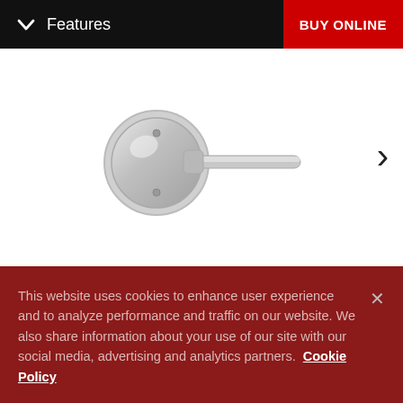Features  BUY ONLINE
[Figure (photo): Chrome door lever handle with round rose plate - Lisbon Interior Pack product photo]
5 Finishes
Lisbon Interior Pack (Round) - Pull Only - for Signature Series 819 Handlesets
This website uses cookies to enhance user experience and to analyze performance and traffic on our website. We also share information about your use of our site with our social media, advertising and analytics partners. Cookie Policy
Cookie Settings  Accept Cookies